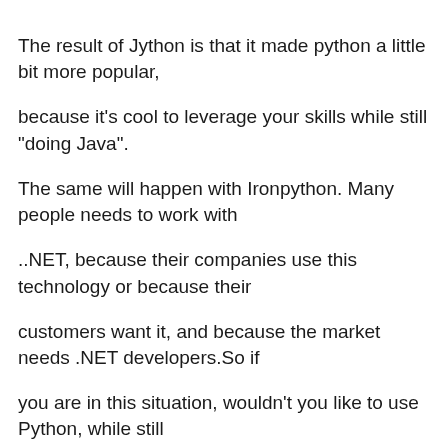The result of Jython is that it made python a little bit more popular, because it's cool to leverage your skills while still "doing Java". The same will happen with Ironpython. Many people needs to work with ..NET, because their companies use this technology or because their customers want it, and because the market needs .NET developers.So if you are in this situation, wouldn't you like to use Python, while still doing .NET?

Besides, MS goal is not controlling python (or killing it). What they want is making the CLR (.NET) an attactive and succesful framework, and